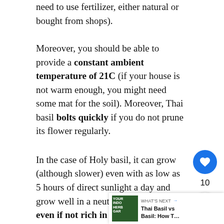need to use fertilizer, either natural or bought from shops).
Moreover, you should be able to provide a constant ambient temperature of 21C (if your house is not warm enough, you might need some mat for the soil). Moreover, Thai basil bolts quickly if you do not prune its flower regularly.
In the case of Holy basil, it can grow (although slower) even with as low as 5 hours of direct sunlight a day and grow well in a neutral (pH=7) soil even if not rich in organic matter as the Thai basil one requires (hence it can strive also with less fertilizer).